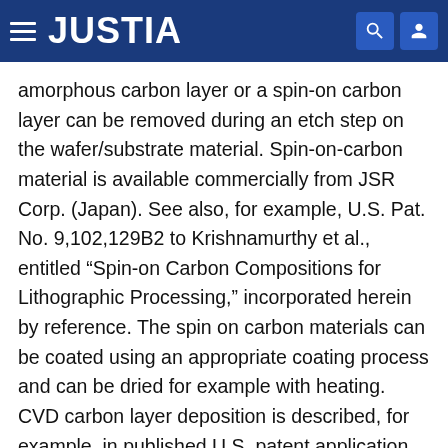JUSTIA
amorphous carbon layer or a spin-on carbon layer can be removed during an etch step on the wafer/substrate material. Spin-on-carbon material is available commercially from JSR Corp. (Japan). See also, for example, U.S. Pat. No. 9,102,129B2 to Krishnamurthy et al., entitled “Spin-on Carbon Compositions for Lithographic Processing,” incorporated herein by reference. The spin on carbon materials can be coated using an appropriate coating process and can be dried for example with heating. CVD carbon layer deposition is described, for example, in published U.S. patent application 2007/0037014 to Nagata, entitled “Method of Forming a Protective Film and a Magnetic Recording Medium Having a Protective Film Formed by the Method,” incorporated herein by reference. A sacrificial coating that modifies the surface edge of the substrate in the absence of heating or other post-processing are